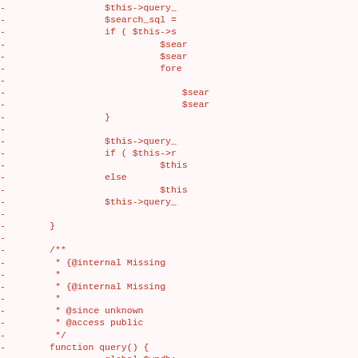[Figure (screenshot): Code diff snippet showing removed lines (marked with '-') of PHP code in red on a light pink/cream background. Lines include PHP code fragments: $this->query_, $search_sql =, if ( $this->s, $sear, $sear, fore, $sear, $sear, }, $this->query_, if ( $this->r, $this, else, $this, $this->query_, }, /**, * {@internal Missing, *, * {@internal Missing, *, * @since unknown, * @access public, */, function query() {, global $wpdb;, $this->result, -, if ( $this->v]